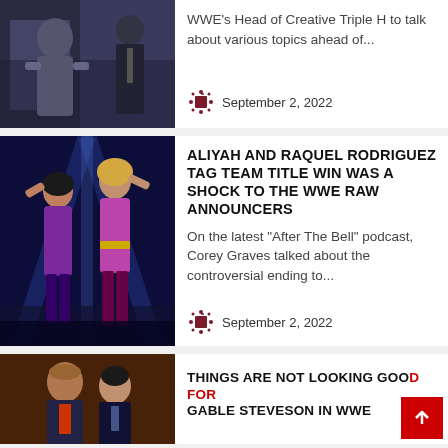[Figure (photo): Partial photo of wrestlers/event, top card thumbnail]
WWE's Head of Creative Triple H to talk about various topics ahead of...
September 2, 2022
[Figure (photo): Aliyah and Raquel Rodriguez celebrating tag team championship win in purple ring gear]
ALIYAH AND RAQUEL RODRIGUEZ TAG TEAM TITLE WIN WAS A SHOCK TO THE WWE RAW ANNOUNCERS
On the latest "After The Bell" podcast, Corey Graves talked about the controversial ending to...
September 2, 2022
[Figure (photo): Two men in suits, one appears to be Triple H, partial view bottom of page]
THINGS ARE NOT LOOKING GOOD FOR GABLE STEVESON IN WWE